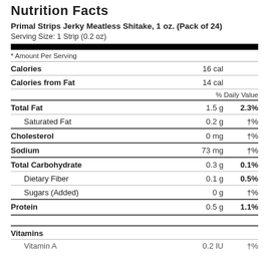Nutrition Facts
Primal Strips Jerky Meatless Shitake, 1 oz. (Pack of 24)
Serving Size: 1 Strip (0.2 oz)
| Nutrient | Amount | % Daily Value |
| --- | --- | --- |
| * Amount Per Serving |  |  |
| Calories | 16 cal |  |
| Calories from Fat | 14 cal |  |
|  |  | % Daily Value |
| Total Fat | 1.5 g | 2.3% |
| Saturated Fat | 0.2 g | †% |
| Cholesterol | 0 mg | †% |
| Sodium | 73 mg | †% |
| Total Carbohydrate | 0.3 g | 0.1% |
| Dietary Fiber | 0.1 g | 0.5% |
| Sugars (Added) | 0 g | †% |
| Protein | 0.5 g | 1.1% |
| Vitamins |  |  |
| Vitamin A | 0.2 IU | †% |